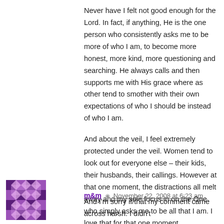Never have I felt not good enough for the Lord. In fact, if anything, He is the one person who consistently asks me to be more of who I am, to become more honest, more kind, more questioning and searching. He always calls and then supports me with His grace where as other tend to smother with their own expectations of who I should be instead of who I am.
And about the veil, I feel extremely protected under the veil. Women tend to look out for everyone else – their kids, their husbands, their callings. However at that one moment, the distractions all melt away and my sole focus in on the One who simply asks me to be all that I am. I love that for that one moment symbolically, I am free of distractions and can communicate freely.
Reply
m&m  November 22, 2008 at 6:23 am
And I'm sorry if/that my comment came across harsh. I didn't